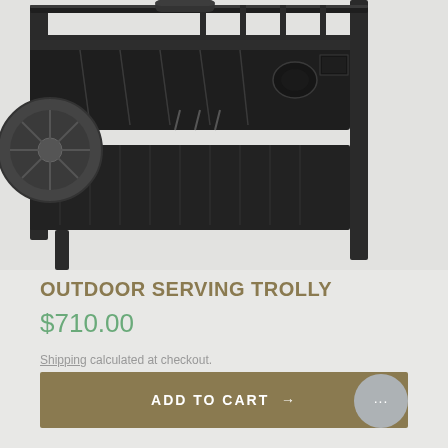[Figure (photo): Close-up photo of a black metal outdoor serving trolley with two tiers, wheels visible on the left side, shot on a light gray background.]
OUTDOOR SERVING TROLLY
$710.00
Shipping calculated at checkout.
ADD TO CART →